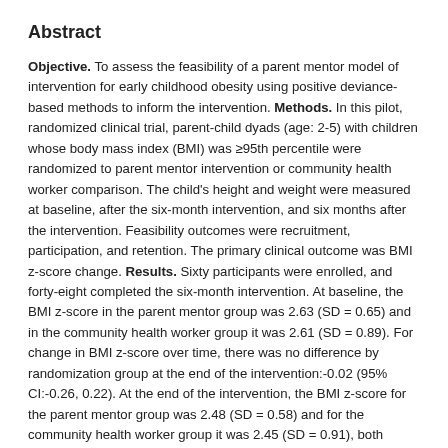Abstract
Objective. To assess the feasibility of a parent mentor model of intervention for early childhood obesity using positive deviance-based methods to inform the intervention. Methods. In this pilot, randomized clinical trial, parent-child dyads (age: 2-5) with children whose body mass index (BMI) was ≥95th percentile were randomized to parent mentor intervention or community health worker comparison. The child's height and weight were measured at baseline, after the six-month intervention, and six months after the intervention. Feasibility outcomes were recruitment, participation, and retention. The primary clinical outcome was BMI z-score change. Results. Sixty participants were enrolled, and forty-eight completed the six-month intervention. At baseline, the BMI z-score in the parent mentor group was 2.63 (SD = 0.65) and in the community health worker group it was 2.61 (SD = 0.89). For change in BMI z-score over time, there was no difference by randomization group at the end of the intervention:-0.02 (95% CI:-0.26, 0.22). At the end of the intervention, the BMI z-score for the parent mentor group was 2.48 (SD = 0.58) and for the community health worker group it was 2.45 (SD = 0.91), both reduced from baseline, p < 0.001. Conclusion. The model of a parent mentor clinical trial is